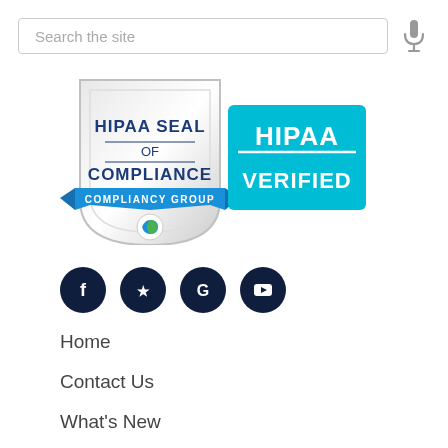Search the site
[Figure (logo): HIPAA Seal of Compliance with HIPAA Verified badge from Compliancy Group]
[Figure (infographic): Social media icons: Facebook, Yelp, Google, YouTube]
Home
Contact Us
What's New
Disclaimer